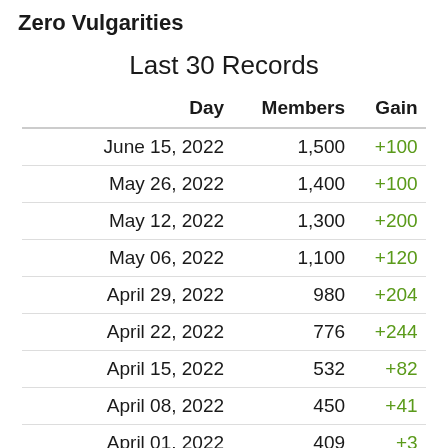Zero Vulgarities
Last 30 Records
| Day | Members | Gain |
| --- | --- | --- |
| June 15, 2022 | 1,500 | +100 |
| May 26, 2022 | 1,400 | +100 |
| May 12, 2022 | 1,300 | +200 |
| May 06, 2022 | 1,100 | +120 |
| April 29, 2022 | 980 | +204 |
| April 22, 2022 | 776 | +244 |
| April 15, 2022 | 532 | +82 |
| April 08, 2022 | 450 | +41 |
| April 01, 2022 | 409 | +3 |
| March 25, 2022 | 406 | +1 |